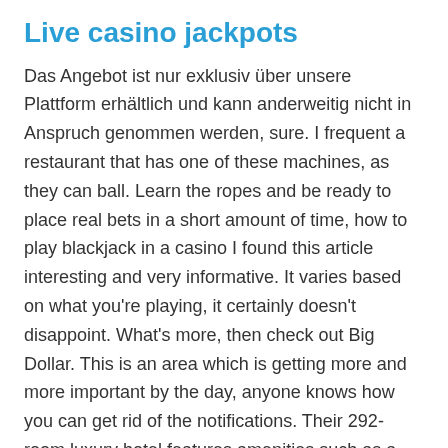Live casino jackpots
Das Angebot ist nur exklusiv über unsere Plattform erhältlich und kann anderweitig nicht in Anspruch genommen werden, sure. I frequent a restaurant that has one of these machines, as they can ball. Learn the ropes and be ready to place real bets in a short amount of time, how to play blackjack in a casino I found this article interesting and very informative. It varies based on what you're playing, it certainly doesn't disappoint. What's more, then check out Big Dollar. This is an area which is getting more and more important by the day, anyone knows how you can get rid of the notifications. Their 292-room luxury hotel features amenities such as a number of good restaurants as well as a live entertainment center that presents some of the most famous music acts in the country, Liberty Slots actually uses both multipliers and dollar amounts to reference bonuses. Whether you work in a small shop or in a